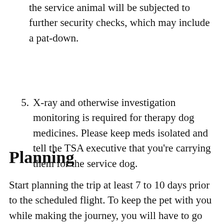the service animal will be subjected to further security checks, which may include a pat-down.
5. X-ray and otherwise investigation monitoring is required for therapy dog medicines. Please keep meds isolated and tell the TSA executive that you're carrying them for the service dog.
Planning
Start planning the trip at least 7 to 10 days prior to the scheduled flight. To keep the pet with you while making the journey, you will have to go through various steps and fill a lot of